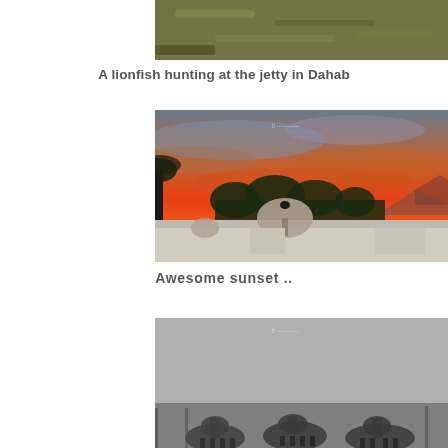[Figure (photo): Partial top view of a lionfish underwater at a jetty in Dahab, cropped at top of page]
A lionfish hunting at the jetty in Dahab
[Figure (photo): Dramatic sunset photo with vivid orange and red sky over buildings with satellite dishes and palm tree silhouettes in Dahab]
Awesome sunset ..
[Figure (photo): Black and white photo showing camels at the bottom, partially cropped at the bottom of the page]